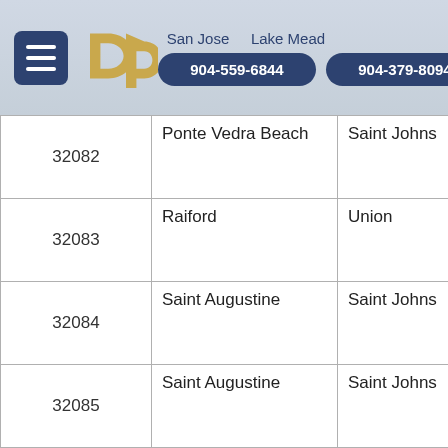[Figure (logo): dp logo in gold/tan color with hamburger menu button and two phone number buttons for San Jose and Lake Mead locations]
| 32082 | Ponte Vedra Beach | Saint Johns |
| 32083 | Raiford | Union |
| 32084 | Saint Augustine | Saint Johns |
| 32085 | Saint Augustine | Saint Johns |
| 32086 | Saint Augustine | Saint Johns |
| 32087 | Sanderson | Baker |
| 32091 | Starke | Bradford |
| 32092 | Saint Augustine | Saint Johns |